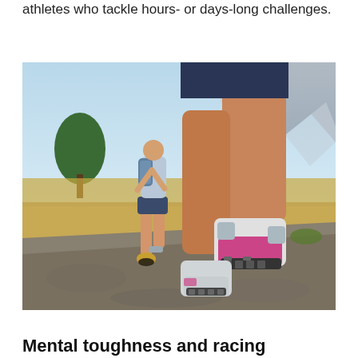athletes who tackle hours- or days-long challenges.
[Figure (photo): Two trail runners photographed from low angle behind them, showing their legs and running shoes mid-stride on a rocky dirt trail. The foreground runner wears pink and white running shoes. The background runner wears a blue shirt with a backpack and dark shorts. Rocky mountains, dry grass, and a pine tree are visible in the background under a blue sky.]
Mental toughness and racing